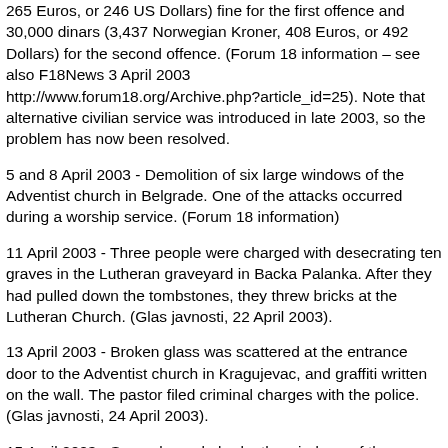265 Euros, or 246 US Dollars) fine for the first offence and 30,000 dinars (3,437 Norwegian Kroner, 408 Euros, or 492 Dollars) for the second offence. (Forum 18 information – see also F18News 3 April 2003 http://www.forum18.org/Archive.php?article_id=25). Note that alternative civilian service was introduced in late 2003, so the problem has now been resolved.
5 and 8 April 2003 - Demolition of six large windows of the Adventist church in Belgrade. One of the attacks occurred during a worship service. (Forum 18 information)
11 April 2003 - Three people were charged with desecrating ten graves in the Lutheran graveyard in Backa Palanka. After they had pulled down the tombstones, they threw bricks at the Lutheran Church. (Glas javnosti, 22 April 2003).
13 April 2003 - Broken glass was scattered at the entrance door to the Adventist church in Kragujevac, and graffiti written on the wall. The pastor filed criminal charges with the police. (Glas javnosti, 24 April 2003).
15 April 2003 - Several people broke the windows of the